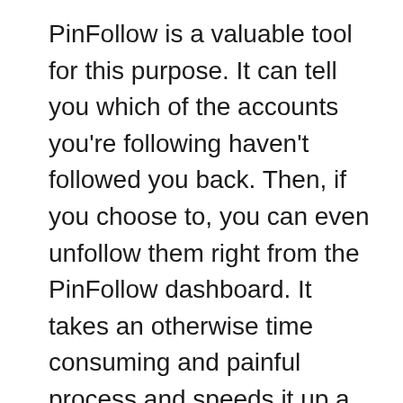PinFollow is a valuable tool for this purpose. It can tell you which of the accounts you're following haven't followed you back. Then, if you choose to, you can even unfollow them right from the PinFollow dashboard. It takes an otherwise time consuming and painful process and speeds it up a great deal.
PinFollow is free, and it takes only a few seconds to set up, making it one of the easiest Pinterest marketing tools to use on this list.
Disclaimer: Don't use this tool to mass unfollow everyone at once, as this behavior goes against Pinterest's terms of service and could get your